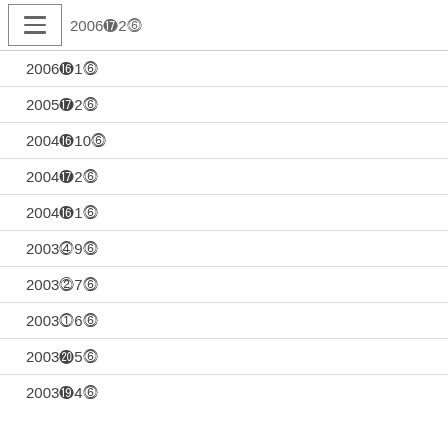2006④2⑤
2006④1⑤
2005④2⑤
2004④10⑤
2004④2⑤
2004④1⑤
2003④9⑤
2003④7⑤
2003④6⑤
2003④5⑤
2003④4⑤